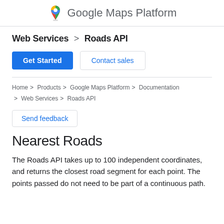Google Maps Platform
Web Services > Roads API
Get Started | Contact sales
Home > Products > Google Maps Platform > Documentation > Web Services > Roads API
Send feedback
Nearest Roads
The Roads API takes up to 100 independent coordinates, and returns the closest road segment for each point. The points passed do not need to be part of a continuous path.